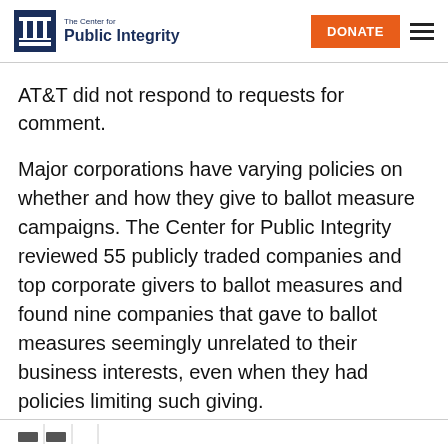The Center for Public Integrity | DONATE
AT&T did not respond to requests for comment.
Major corporations have varying policies on whether and how they give to ballot measure campaigns. The Center for Public Integrity reviewed 55 publicly traded companies and top corporate givers to ballot measures and found nine companies that gave to ballot measures seemingly unrelated to their business interests, even when they had policies limiting such giving.